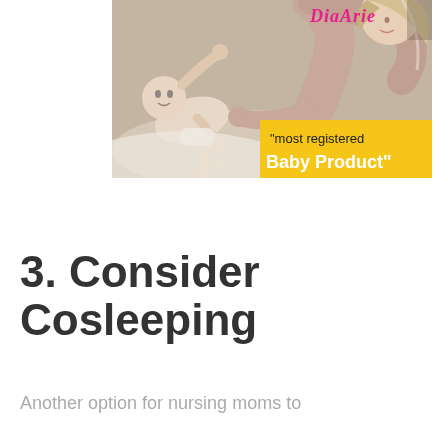[Figure (photo): Photo of a mother looking at her baby lying on a white surface, with a yellow badge overlay reading "most registered Baby Product" and a pink cursive brand logo in the top right corner.]
3. Consider Cosleeping
Another option for nursing moms to survive nighttime breastfeeding is